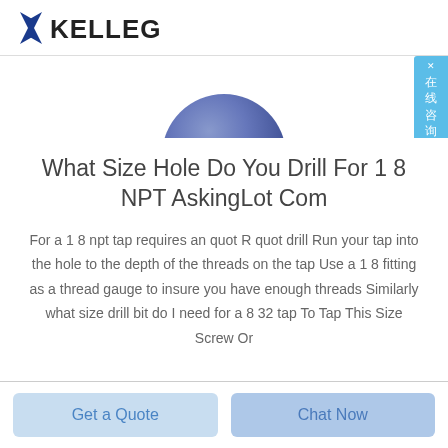KELLEG
[Figure (photo): Partial view of a blue spherical product/ball valve on white background]
What Size Hole Do You Drill For 1 8 NPT AskingLot Com
For a 1 8 npt tap requires an quot R quot drill Run your tap into the hole to the depth of the threads on the tap Use a 1 8 fitting as a thread gauge to insure you have enough threads Similarly what size drill bit do I need for a 8 32 tap To Tap This Size Screw Or
Get a Quote
Chat Now